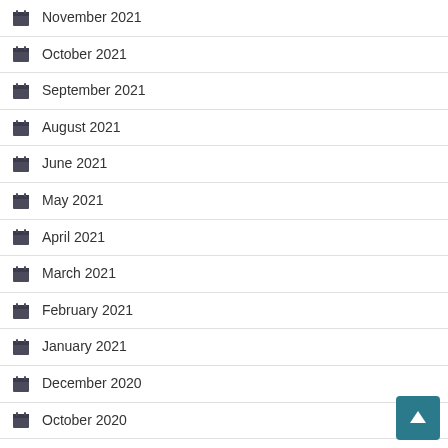November 2021
October 2021
September 2021
August 2021
June 2021
May 2021
April 2021
March 2021
February 2021
January 2021
December 2020
October 2020
September 2020